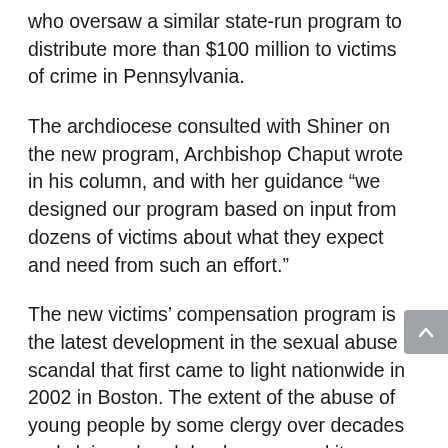who oversaw a similar state-run program to distribute more than $100 million to victims of crime in Pennsylvania.
The archdiocese consulted with Shiner on the new program, Archbishop Chaput wrote in his column, and with her guidance “we designed our program based on input from dozens of victims about what they expect and need from such an effort.”
The new victims’ compensation program is the latest development in the sexual abuse scandal that first came to light nationwide in 2002 in Boston. The extent of the abuse of young people by some clergy over decades and claims church leaders covered it up was revealed by grand juries investigating the Philadelphia Archdiocese in 2005 and 2011, then the Altoona-Johnstown